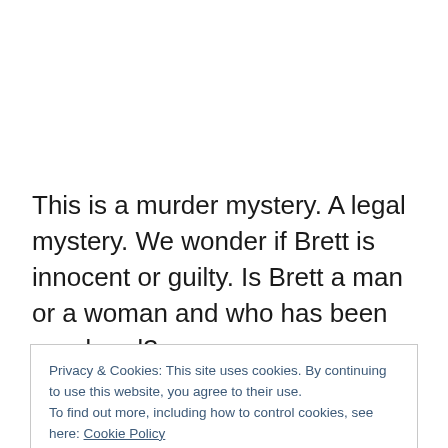This is a murder mystery. A legal mystery. We wonder if Brett is innocent or guilty. Is Brett a man or a woman and who has been murdered?
Privacy & Cookies: This site uses cookies. By continuing to use this website, you agree to their use.
To find out more, including how to control cookies, see here: Cookie Policy